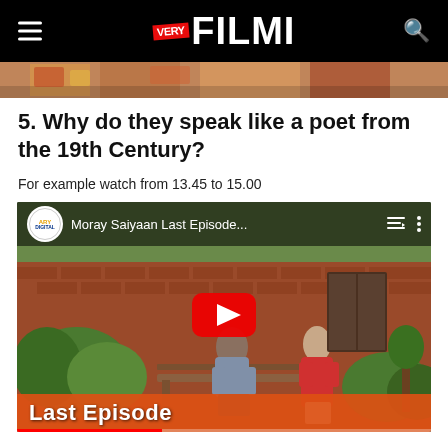VERY FILMI
[Figure (photo): Partial top strip of a drama scene showing colorful clothing]
5. Why do they speak like a poet from the 19th Century?
For example watch from 13.45 to 15.00
[Figure (screenshot): YouTube video embed showing two people sitting on a bench outside a brick building. Title reads 'Moray Saiyaan Last Episode...' from ARY Digital channel. A red play button is in center. Bottom bar shows 'Last Episode' in white text on orange-red background.]